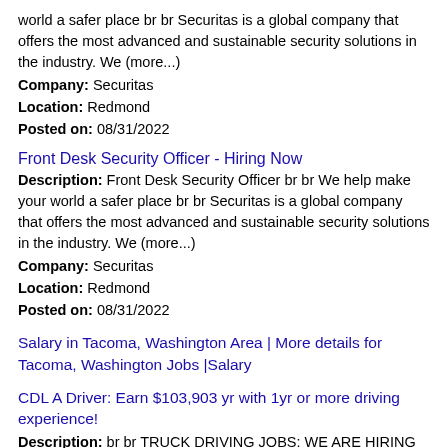world a safer place br br Securitas is a global company that offers the most advanced and sustainable security solutions in the industry. We (more...)
Company: Securitas
Location: Redmond
Posted on: 08/31/2022
Front Desk Security Officer - Hiring Now
Description: Front Desk Security Officer br br We help make your world a safer place br br Securitas is a global company that offers the most advanced and sustainable security solutions in the industry. We (more...)
Company: Securitas
Location: Redmond
Posted on: 08/31/2022
Salary in Tacoma, Washington Area | More details for Tacoma, Washington Jobs |Salary
CDL A Driver: Earn $103,903 yr with 1yr or more driving experience!
Description: br br TRUCK DRIVING JOBS: WE ARE HIRING DRIVERS We're a Certified Top Pay Carrier and br the top 50 percent of our drivers br average 103,903 per year. STRONGER